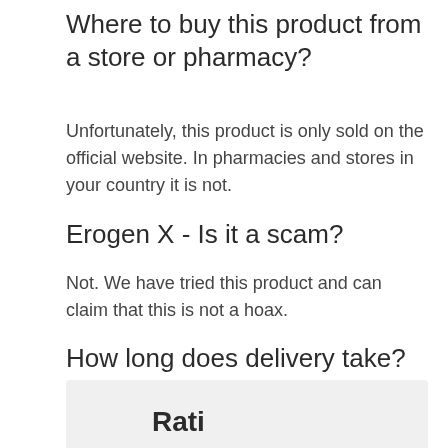Where to buy this product from a store or pharmacy?
Unfortunately, this product is only sold on the official website. In pharmacies and stores in your country it is not.
Erogen X - Is it a scam?
Not. We have tried this product and can claim that this is not a hoax.
How long does delivery take?
Depending on your location, delivery may take from 2 to 7 days.
[Figure (other): Gray box at bottom of page with partial bold text visible, beginning with 'Rati...']